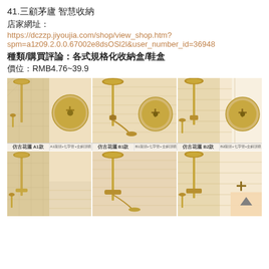41.三顧茅廬 智慧收納
店家網址：
https://dczzp.jiyoujia.com/shop/view_shop.htm?spm=a1z09.2.0.0.67002e8dsOSl2l&user_number_id=3694848
種類/購買評論：各式規格化收納盒/鞋盒
價位：RMB4.76~39.9
[Figure (photo): Six product images of antique brass shower sets in two rows, showing different models (A1款, B1款, B2款 in top row; additional models in bottom row) with rain shower heads and faucet handles, labeled with Chinese product names]